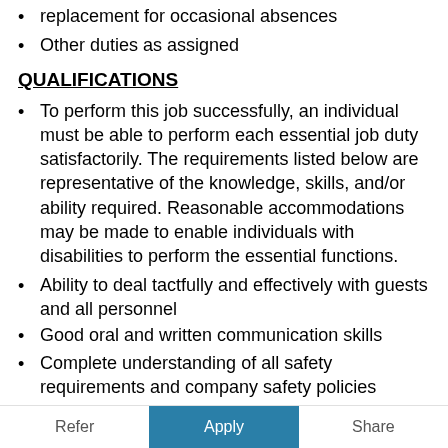replacement for occasional absences
Other duties as assigned
QUALIFICATIONS
To perform this job successfully, an individual must be able to perform each essential job duty satisfactorily. The requirements listed below are representative of the knowledge, skills, and/or ability required. Reasonable accommodations may be made to enable individuals with disabilities to perform the essential functions.
Ability to deal tactfully and effectively with guests and all personnel
Good oral and written communication skills
Complete understanding of all safety requirements and company safety policies
Knowledge of perishable food
Requires proper training and knowledge of the following equipment/procedures: slicers
Refer   Apply   Share